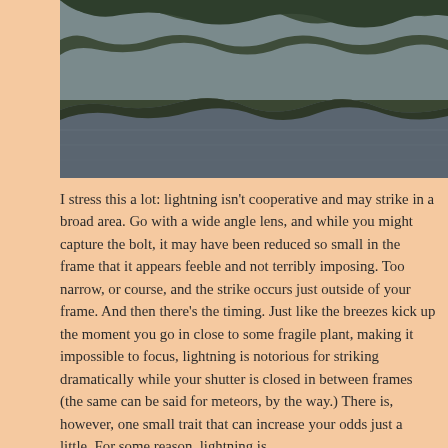[Figure (photo): A calm lake or river scene with dark tree-lined banks reflected in still gray water, photographed at dusk or dawn.]
I stress this a lot: lightning isn't cooperative and may strike in a broad area. Go with a wide angle lens, and while you might capture the bolt, it may have been reduced so small in the frame that it appears feeble and not terribly imposing. Too narrow, or course, and the strike occurs just outside of your frame. And then there's the timing. Just like the breezes kick up the moment you go in close to some fragile plant, making it impossible to focus, lightning is notorious for striking dramatically while your shutter is closed in between frames (the same can be said for meteors, by the way.) There is, however, one small trait that can increase your odds just a little. For some reason, lightning is